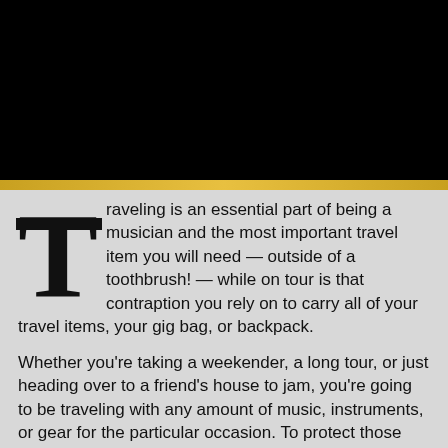[Figure (photo): Dark/black header image with gold horizontal bar at the bottom]
Traveling is an essential part of being a musician and the most important travel item you will need — outside of a toothbrush! — while on tour is that contraption you rely on to carry all of your travel items, your gig bag, or backpack.
Whether you're taking a weekender, a long tour, or just heading over to a friend's house to jam, you're going to be traveling with any amount of music, instruments, or gear for the particular occasion. To protect those delicate items — so that you can get the most life out of your investment — you'll